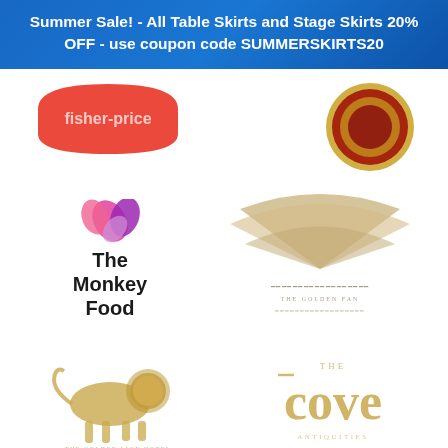Summer Sale! - All Table Skirts and Stage Skirts 20% OFF - use coupon code SUMMERSKIRTS20
[Figure (logo): Fisher-Price logo - red curved shape with white text]
[Figure (logo): Circular emblem/seal logo with red and gold]
[Figure (logo): The Monkey Pod logo with colorful flower/butterfly icon and black text]
[Figure (logo): Fan-shaped gold/beige logo with text below]
[Figure (logo): Gold lion walking logo with text]
[Figure (logo): The Cove logo in gold serif font]